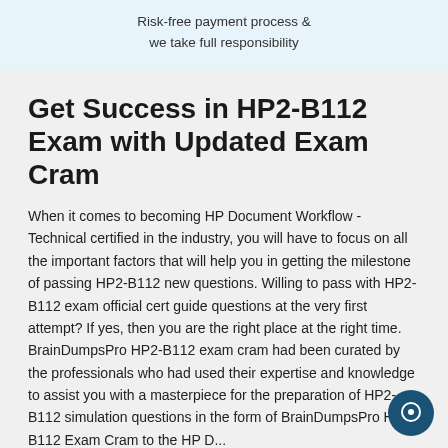Risk-free payment process & we take full responsibility
Get Success in HP2-B112 Exam with Updated Exam Cram
When it comes to becoming HP Document Workflow - Technical certified in the industry, you will have to focus on all the important factors that will help you in getting the milestone of passing HP2-B112 new questions. Willing to pass with HP2-B112 exam official cert guide questions at the very first attempt? If yes, then you are the right place at the right time. BrainDumpsPro HP2-B112 exam cram had been curated by the professionals who had used their expertise and knowledge to assist you with a masterpiece for the preparation of HP2-B112 simulation questions in the form of BrainDumpsPro HP2-B112 Exam Cram to the HP D...